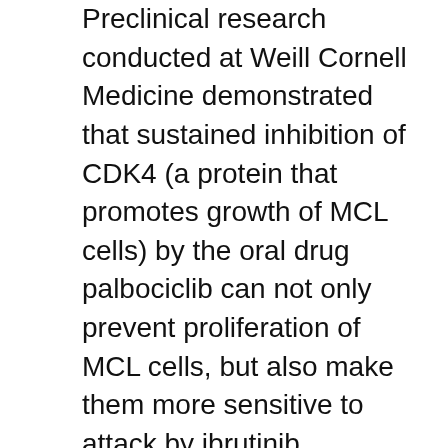Preclinical research conducted at Weill Cornell Medicine demonstrated that sustained inhibition of CDK4 (a protein that promotes growth of MCL cells) by the oral drug palbociclib can not only prevent proliferation of MCL cells, but also make them more sensitive to attack by ibrutinib.
Based on these findings, Weill Cornell Medicine and NewYork-Presbyterian Lymphoma Program Chief Dr. Peter Martin and colleagues initiated a phase I study of palbociclib plus ibrutinib (PALIBR) in patients with previously treated MCL. Results from the all-oral regimen were recently published online in the American Society of Hematology (ASH) Blood Journal.
The addition of palbociclib to ibrutinib appeared